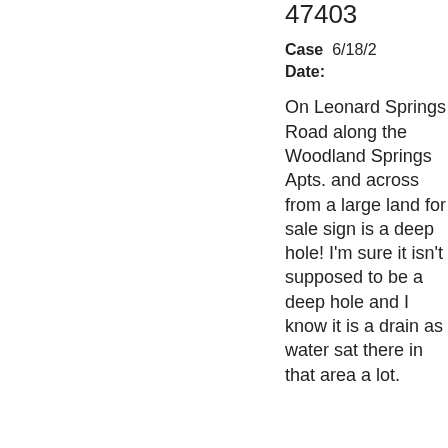47403
Case Date: 6/18/2
On Leonard Springs Road along the Woodland Springs Apts. and across from a large land for sale sign is a deep hole! I'm sure it isn't supposed to be a deep hole and I know it is a drain as water sat there in that area a lot.